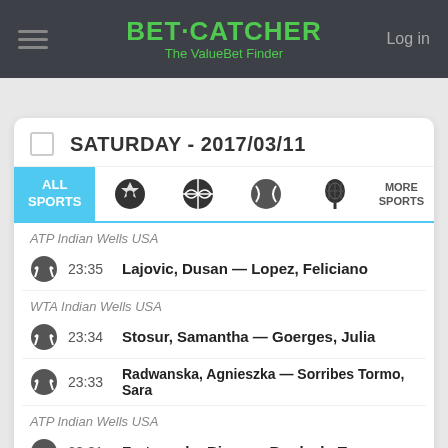BET·CATCHER The ValueBet Finder | Log in
SATURDAY - 2017/03/11
ALL SPORTS | soccer | basketball | tennis | tennis | MORE SPORTS
ATP Indian Wells USA
23:35  Lajovic, Dusan — Lopez, Feliciano
WTA Indian Wells USA
23:34  Stosur, Samantha — Goerges, Julia
23:33  Radwanska, Agnieszka — Sorribes Tormo, Sara
ATP Indian Wells USA
23:31  Fratangelo, Bjorn — Berdych, Tomas